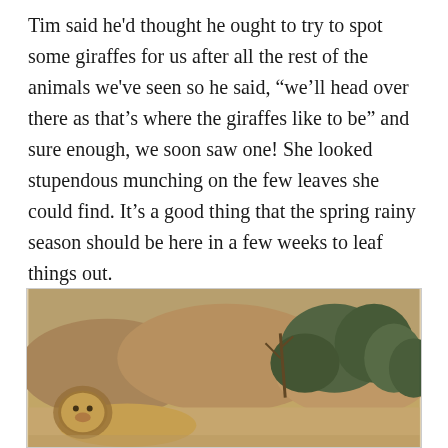Tim said he'd thought he ought to try to spot some giraffes for us after all the rest of the animals we've seen so he said, “we’ll head over there as that’s where the giraffes like to be” and sure enough, we soon saw one! She looked stupendous munching on the few leaves she could find. It’s a good thing that the spring rainy season should be here in a few weeks to leaf things out.
[Figure (photo): A blurry outdoor wildlife photograph showing a lion resting or walking on rocky ground, with dry scrubby trees and vegetation in the background. The image has a warm, dusty tone.]